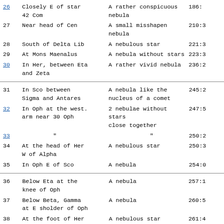| # | Location | Description | Ref |
| --- | --- | --- | --- |
| 26 | Closely E of star 42 Com | A rather conspicuous nebula | 186: |
| 27 | Near head of Cen | A small misshapen nebula | 210:3 |
| 28 | South of Delta Lib | A nebulous star | 221:3 |
| 29 | At Mons Maenalus | A nebula without stars | 223:3 |
| 30 | In Her, between Eta and Zeta | A rather vivid nebula | 236:2 |
| 31 | In Sco between Sigma and Antares | A nebula like the nucleus of a comet | 245:2 |
| 32 | In Oph at the west. arm near 30 Oph | 2 nebulae without stars close together | 247:5 |
| 33 | " | " | 250:2 |
| 34 | At the head of Her W of Alpha | A nebulous star | 250:3 |
| 35 | In Oph E of Sco | A nebula | 254:0 |
| 36 | Below Eta at the knee of Oph | A nebula | 257:1 |
| 37 | Below Beta, Gamma at E sholder of Oph | A nebula | 260:5 |
| 38 | At the foot of Her near x and v | A nebulous star | 261:4 |